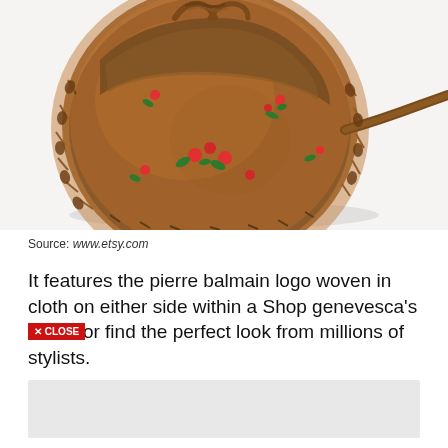[Figure (photo): Close-up photo of a round brown leather bag with floral embroidery (red and green flowers), whip-stitched edges, and leather strap visible, photographed on white background]
Source: www.etsy.com
It features the pierre balmain logo woven in cloth on either side within a Shop genevesca's closet or find the perfect look from millions of stylists.
[Figure (screenshot): Gray placeholder box at bottom of page]